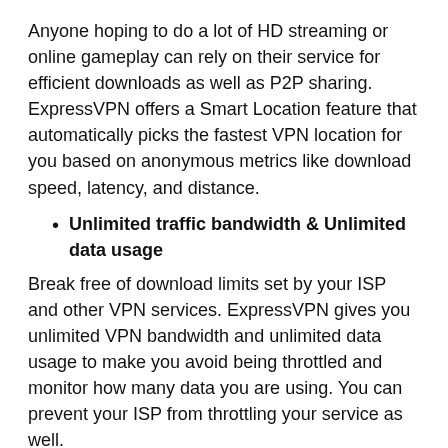Anyone hoping to do a lot of HD streaming or online gameplay can rely on their service for efficient downloads as well as P2P sharing. ExpressVPN offers a Smart Location feature that automatically picks the fastest VPN location for you based on anonymous metrics like download speed, latency, and distance.
Unlimited traffic bandwidth & Unlimited data usage
Break free of download limits set by your ISP and other VPN services. ExpressVPN gives you unlimited VPN bandwidth and unlimited data usage to make you avoid being throttled and monitor how many data you are using. You can prevent your ISP from throttling your service as well.
5 Simultaneous Connections Allowed